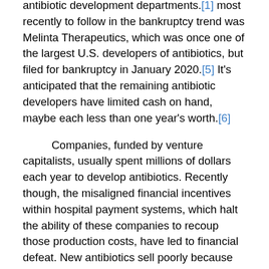antibiotic development departments.[1] most recently to follow in the bankruptcy trend was Melinta Therapeutics, which was once one of the largest U.S. developers of antibiotics, but filed for bankruptcy in January 2020.[5] It's anticipated that the remaining antibiotic developers have limited cash on hand, maybe each less than one year's worth.[6]
Companies, funded by venture capitalists, usually spent millions of dollars each year to develop antibiotics. Recently though, the misaligned financial incentives within hospital payment systems, which halt the ability of these companies to recoup those production costs, have led to financial defeat. New antibiotics sell poorly because doctors often hold them in reserve until they're absolutely necessary, worrying about drug resistance, but hurting manufacturers. Within hospital payment systems, doctors